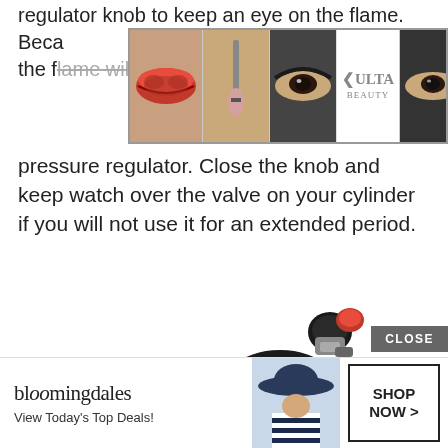regulator knob to keep an eye on the flame. Because the knob is set to minimum, the flame will be modest if you add a low pressure regulator. Close the knob and keep watch over the valve on your cylinder if you will not use it for an extended period.
[Figure (photo): Ulta Beauty advertisement banner with cosmetics photos (lips, makeup brush, eyes), Ulta logo, and Shop Now button]
[Figure (photo): Gas regulator hose and burner ring product photo on white background]
[Figure (photo): Bloomingdale's advertisement banner with View Today's Top Deals, woman in hat image, and Shop Now button]